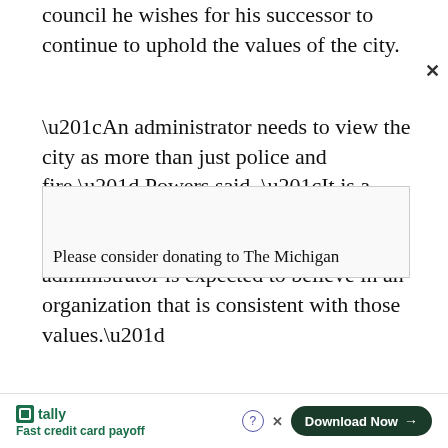council he wishes for his successor to continue to uphold the values of the city.
“An administrator needs to view the city as more than just police and fire,” Powers said. “It is a community that has values that are very important to a council and the administrator is expected to believe in an organization that is consistent with those values.”
Please consider donating to The Michigan
[Figure (other): Advertisement banner for Tally app: 'Fast credit card payoff' with a Download Now button]